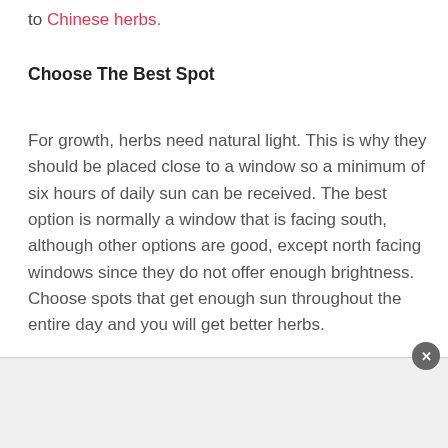to Chinese herbs.
Choose The Best Spot
For growth, herbs need natural light. This is why they should be placed close to a window so a minimum of six hours of daily sun can be received. The best option is normally a window that is facing south, although other options are good, except north facing windows since they do not offer enough brightness. Choose spots that get enough sun throughout the entire day and you will get better herbs.
Always Use Some Pot...